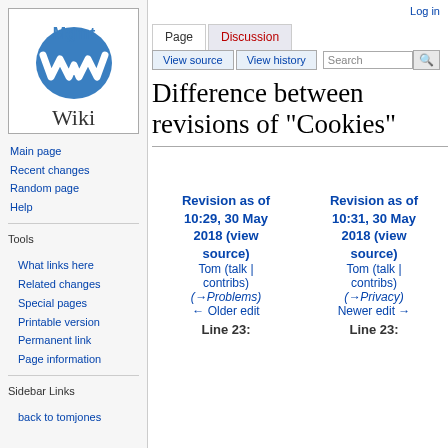[Figure (logo): Mgmt Wiki logo: blue oval with white W-shaped wave symbol, text 'Mgmt' above and 'Wiki' below in serif font]
Main page
Recent changes
Random page
Help
Tools
What links here
Related changes
Special pages
Printable version
Permanent link
Page information
Sidebar Links
back to tomjones
Log in
Difference between revisions of "Cookies"
| Revision as of 10:29, 30 May 2018 (view source) | Revision as of 10:31, 30 May 2018 (view source) |
| --- | --- |
| Tom (talk | contribs) | Tom (talk | contribs) |
| (→Problems) | (→Privacy) |
| ← Older edit | Newer edit → |
| Line 23: | Line 23: |